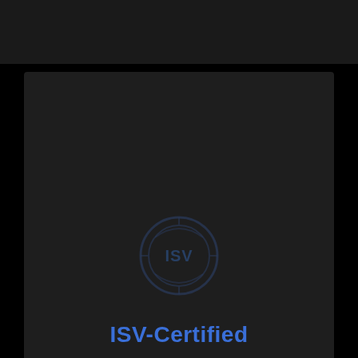[Figure (logo): ISV certification badge icon — circular badge with 'ISV' text inside, rendered in dark blue/gray tones as a watermark]
ISV-Certified
Tested to perform flawlessly with creative software.